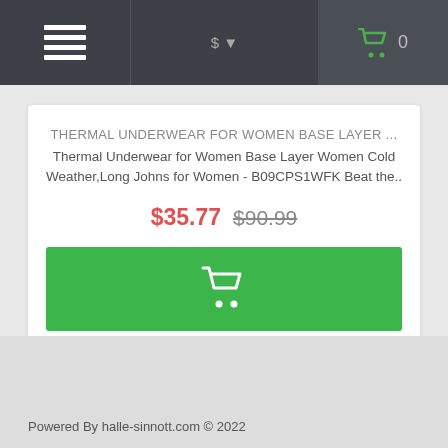$ 0
THERMAL UNDERWEAR FOR WOMEN BASE LAYER ...
Thermal Underwear for Women Base Layer Women Cold Weather,Long Johns for Women - B09CPS1WFK Beat the..
$35.77 $90.99
[Figure (screenshot): Green add-to-cart button with shopping cart icon]
[Figure (screenshot): Wishlist heart button and compare arrows button]
Powered By halle-sinnott.com © 2022